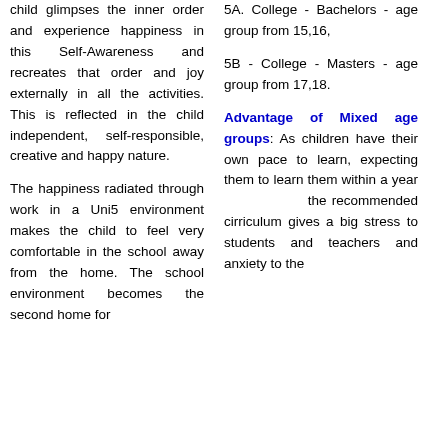child glimpses the inner order and experience happiness in this Self-Awareness and recreates that order and joy externally in all the activities. This is reflected in the child independent, self-responsible, creative and happy nature.
The happiness radiated through work in a Uni5 environment makes the child to feel very comfortable in the school away from the home. The school environment becomes the second home for
5A. College - Bachelors - age group from 15,16,
5B - College - Masters - age group from 17,18.
Advantage of Mixed age groups
: As children have their own pace to learn, expecting them to learn them within a year the recommended cirriculum gives a big stress to students and teachers and anxiety to the